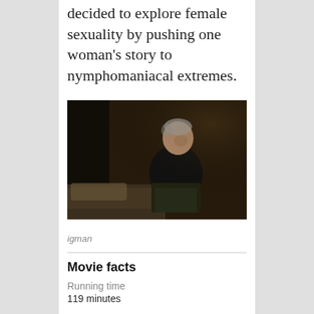decided to explore female sexuality by pushing one woman's story to nymphomaniacal extremes.
[Figure (photo): An elderly man in a dark sweater with white collar sits on a bed in a dimly lit room, hands clasped, looking downward.]
igman
Movie facts
Running time
119 minutes